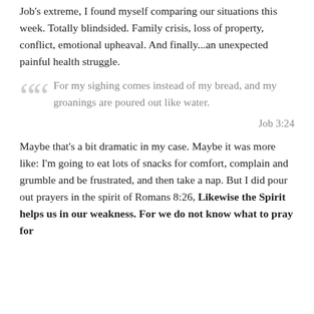Job's extreme, I found myself comparing our situations this week. Totally blindsided. Family crisis, loss of property, conflict, emotional upheaval. And finally...an unexpected painful health struggle.
For my sighing comes instead of my bread, and my groanings are poured out like water.
Job 3:24
Maybe that's a bit dramatic in my case. Maybe it was more like: I'm going to eat lots of snacks for comfort, complain and grumble and be frustrated, and then take a nap. But I did pour out prayers in the spirit of Romans 8:26, Likewise the Spirit helps us in our weakness. For we do not know what to pray for as we ought, but the Spirit himself intercedes for